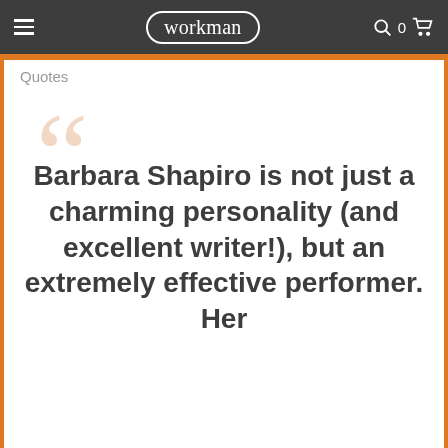workman
Quotes
Barbara Shapiro is not just a charming personality (and excellent writer!), but an extremely effective performer. Her